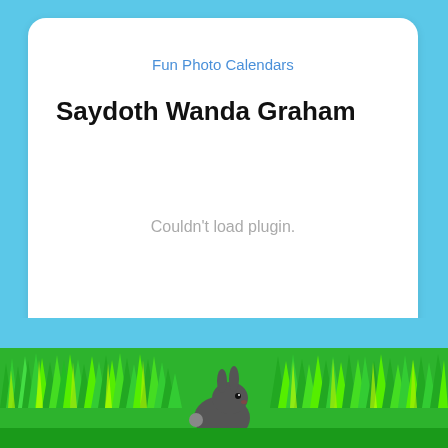Fun Photo Calendars
Saydoth Wanda Graham
Couldn't load plugin.
adopt your own virtual pet!
[Figure (illustration): Green grass with dark bunny rabbit at bottom of page on light blue background]